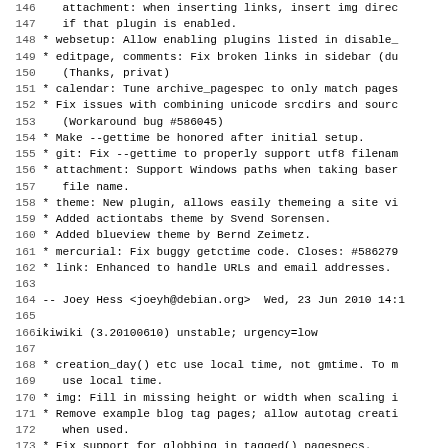Lines 146-178 of a Debian changelog for ikiwiki, showing bug fixes and changelog entries for versions 3.20100623 and 3.20100610
146: attachment: when inserting links, insert img dire...
147:     if that plugin is enabled.
148:  * websetup: Allow enabling plugins listed in disable_...
149:  * editpage, comments: Fix broken links in sidebar (du...
150:     (Thanks, privat)
151:  * calendar: Tune archive_pagespec to only match pages...
152:  * Fix issues with combining unicode srcdirs and sourc...
153:     (Workaround bug #586045)
154:  * Make --gettime be honored after initial setup.
155:  * git: Fix --gettime to properly support utf8 filenam...
156:  * attachment: Support Windows paths when taking baser...
157:     file name.
158:  * theme: New plugin, allows easily themeing a site vi...
159:  * Added actiontabs theme by Svend Sorensen.
160:  * Added blueview theme by Bernd Zeimetz.
161:  * mercurial: Fix buggy getctime code. Closes: #586279...
162:  * link: Enhanced to handle URLs and email addresses.
163:
164:  -- Joey Hess <joeyh@debian.org>  Wed, 23 Jun 2010 14:1...
165:
166: ikiwiki (3.20100610) unstable; urgency=low
167:
168:  * creation_day() etc use local time, not gmtime. To m...
169:     use local time.
170:  * img: Fill in missing height or width when scaling i...
171:  * Remove example blog tag pages; allow autotag creati...
172:     when used.
173:  * Fix support for globbing in tagged() pagespecs.
174:  * Fix display of sidebar when previewing page edit. (...
175:  * relativedate: Fix problem with localised dates not...
176:  * editpage: Avoid storing accidental state changes wh...
177:  * page.tmpl: Add a div around the page content, and c...
178:     sidebar styling.